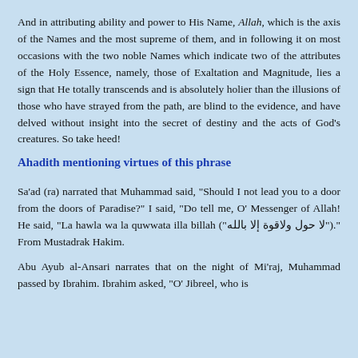And in attributing ability and power to His Name, Allah, which is the axis of the Names and the most supreme of them, and in following it on most occasions with the two noble Names which indicate two of the attributes of the Holy Essence, namely, those of Exaltation and Magnitude, lies a sign that He totally transcends and is absolutely holier than the illusions of those who have strayed from the path, are blind to the evidence, and have delved without insight into the secret of destiny and the acts of God's creatures. So take heed!
Ahadith mentioning virtues of this phrase
Sa'ad (ra) narrated that Muhammad said, "Should I not lead you to a door from the doors of Paradise?" I said, "Do tell me, O' Messenger of Allah! He said, "La hawla wa la quwwata illa billah ("لا حول ولاقوة إلا بالله")." From Mustadrak Hakim.
Abu Ayub al-Ansari narrates that on the night of Mi'raj, Muhammad passed by Ibrahim. Ibrahim asked, "O' Jibreel, who is